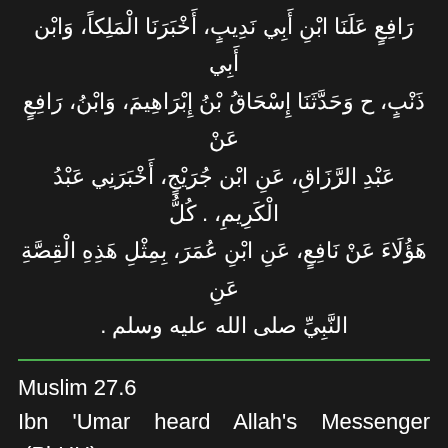رَافِعٍ عَلَنَا ابْنِ أَبِي نَدِيبٍ، أَخْبَرَنَا الْمَلِكاً، وَابْن أَبِي ذَنْبٍ، ح وَحَدَّثَنَا إِسْحَاقُ بْنُ إِبْرَاهِيمَ، وَابْنُ، رَافِعٍ عَنْ عَبْدِ الرَّزَاقِ، عَنِ ابْن جُرَيْجٍ، أَخْبَرَنِي عَبْدُ الْكَرِيمِ، . كُلُّ هَؤُلَاءَ عَنْ نَافِعٍ، عَنِ ابْنِ عُمَرَ، بِمِثْلِ هَذِهِ الْقِصَّةِ عَنِ النَّبِيِّ صلى الله عليه وسلم .
Muslim 27.6
Ibn 'Umar heard Allah's Messenger (PbUH) as saying:
He who has to take an oath, he must not take oath but by Allah. The Quraish used to take oath by their fathers. So he (the Holy Prophet) said: Do not take oath by your fathers.